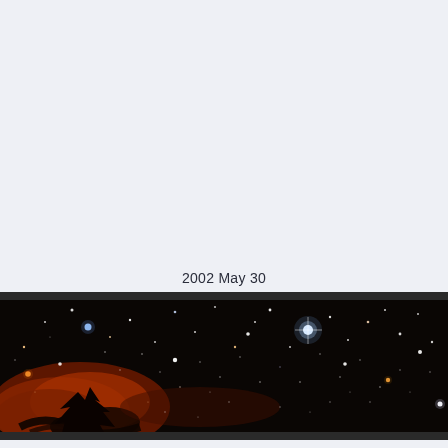2002 May 30
[Figure (photo): Astronomical wide-field image showing a star field with a reddish-orange nebula on the lower left, set against a black sky filled with numerous stars of various colors including white, blue, and orange stars. This appears to be an infrared or optical telescope image of the Milky Way or a star-forming region.]